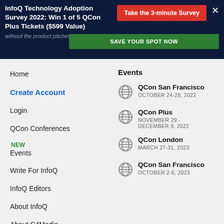InfoQ Technology Adoption Survey 2022: Win 1 of 5 QCon Plus Tickets ($599 Value)
without the product pitches. SAVE YOUR SPOT NOW
Home
Create Account
Login
QCon Conferences
NEW Events
Write For InfoQ
InfoQ Editors
About InfoQ
About C4Media
Media Kit
Events
QCon San Francisco
OCTOBER 24-28, 2022
QCon Plus
NOVEMBER 29 -
DECEMBER 9, 2022
QCon London
MARCH 27-31, 2023
QCon San Francisco
OCTOBER 2-6, 2023